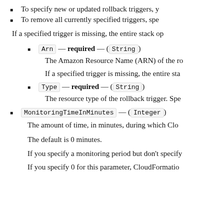To specify new or updated rollback triggers, y…
To remove all currently specified triggers, spe…
If a specified trigger is missing, the entire stack op…
Arn — required — (String)
The Amazon Resource Name (ARN) of the ro…
If a specified trigger is missing, the entire sta…
Type — required — (String)
The resource type of the rollback trigger. Spe…
MonitoringTimeInMinutes — (Integer)
The amount of time, in minutes, during which Clo…
The default is 0 minutes.
If you specify a monitoring period but don't specify…
If you specify 0 for this parameter, CloudFormatio…